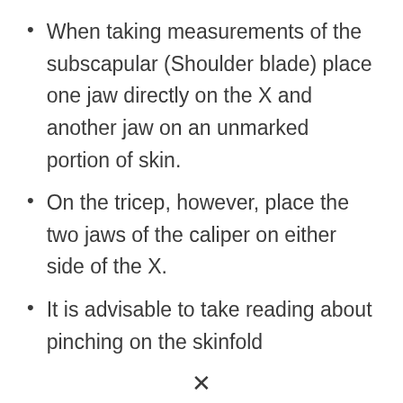When taking measurements of the subscapular (Shoulder blade) place one jaw directly on the X and another jaw on an unmarked portion of skin.
On the tricep, however, place the two jaws of the caliper on either side of the X.
It is advisable to take reading about pinching on the skinfold